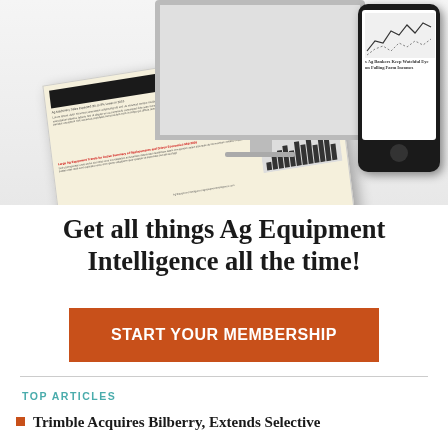[Figure (illustration): Promotional image showing a desktop computer monitor, a newspaper (Ag Equipment Intelligence), and a smartphone displaying farm income article headline]
Get all things Ag Equipment Intelligence all the time!
START YOUR MEMBERSHIP
TOP ARTICLES
Trimble Acquires Bilberry, Extends Selective